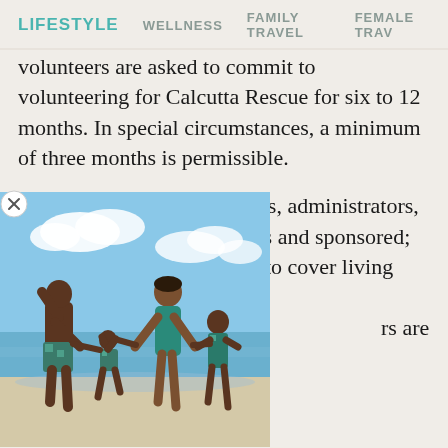LIFESTYLE   WELLNESS   FAMILY TRAVEL   FEMALE TRAV
volunteers are asked to commit to volunteering for Calcutta Rescue for six to 12 months. In special circumstances, a minimum of three months is permissible.
Medical personnel, educators, administrators, and management consultants and sponsored; the [text hidden by image] gh to cover living costs. [text hidden by image] rs are not supported
[Figure (photo): A family of four (two adults and two children) walking on a beach holding hands, wearing matching tropical swimwear. The beach is bright with blue sky and water in the background.]
To volunteer, send your CV and a cover letter to admin@calcuttarescue.org.